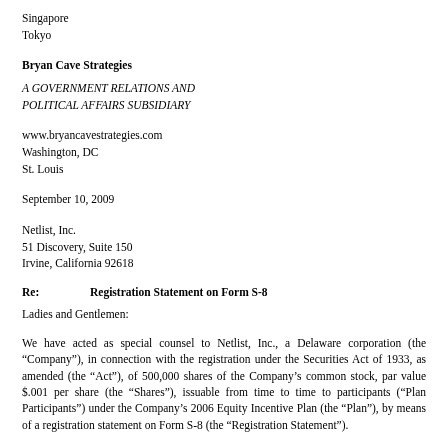Singapore
Tokyo
Bryan Cave Strategies
A GOVERNMENT RELATIONS AND POLITICAL AFFAIRS SUBSIDIARY
www.bryancavestrategies.com
Washington, DC
St. Louis
September 10, 2009
Netlist, Inc.
51 Discovery, Suite 150
Irvine, California 92618
Re:        Registration Statement on Form S-8
Ladies and Gentlemen:
We have acted as special counsel to Netlist, Inc., a Delaware corporation (the “Company”), in connection with the registration under the Securities Act of 1933, as amended (the “Act”), of 500,000 shares of the Company’s common stock, par value $.001 per share (the “Shares”), issuable from time to time to participants (“Plan Participants”) under the Company’s 2006 Equity Incentive Plan (the “Plan”), by means of a registration statement on Form S-8 (the “Registration Statement”).